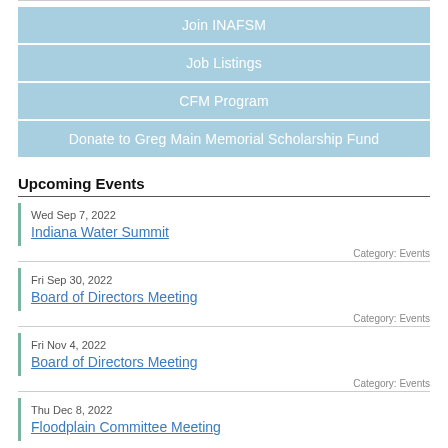Join INAFSM
Job Listings
CFM Program
Donate to Greg Main Memorial Scholarship Fund
Upcoming Events
Wed Sep 7, 2022
Indiana Water Summit
Category: Events
Fri Sep 30, 2022
Board of Directors Meeting
Category: Events
Fri Nov 4, 2022
Board of Directors Meeting
Category: Events
Thu Dec 8, 2022
Floodplain Committee Meeting